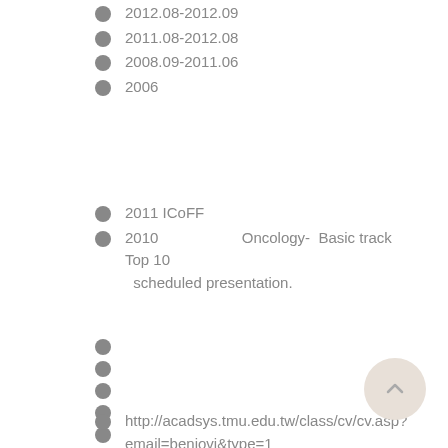2012.08-2012.09
2011.08-2012.08
2008.09-2011.06
2006
2011 ICoFF
2010                    Oncology- Basic track    Top 10 scheduled presentation.
http://acadsys.tmu.edu.tw/class/cv/cv.asp?email=benjovi&type=1